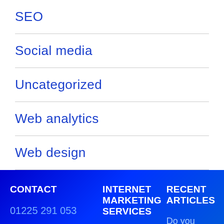SEO
Social media
Uncategorized
Web analytics
Web design
CONTACT
01225 291 053
contact@brandnewway.com
INTERNET MARKETING SERVICES
Pay Per Click
RECENT ARTICLES
Do you really tru your